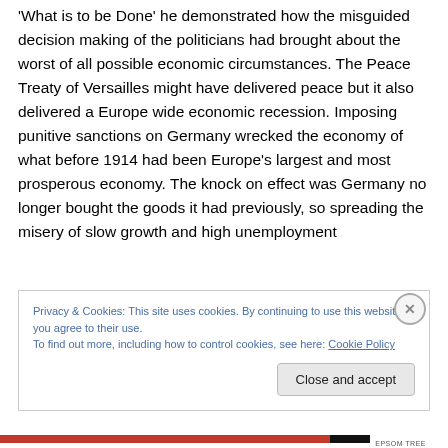'What is to be Done' he demonstrated how the misguided decision making of the politicians had brought about the worst of all possible economic circumstances. The Peace Treaty of Versailles might have delivered peace but it also delivered a Europe wide economic recession. Imposing punitive sanctions on Germany wrecked the economy of what before 1914 had been Europe's largest and most prosperous economy. The knock on effect was Germany no longer bought the goods it had previously, so spreading the misery of slow growth and high unemployment
Privacy & Cookies: This site uses cookies. By continuing to use this website, you agree to their use.
To find out more, including how to control cookies, see here: Cookie Policy